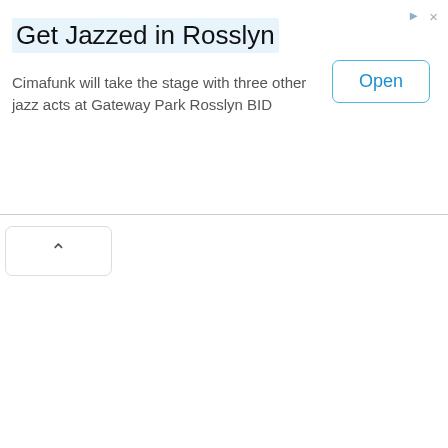[Figure (screenshot): Advertisement banner: Get Jazzed in Rosslyn, with Open button]
Get Jazzed in Rosslyn
Cimafunk will take the stage with three other jazz acts at Gateway Park Rosslyn BID
Monster Car
Search hundreds of company name, ski
All Star Jobs
It is a job source for British Columbia, Ma provinces are adver
Eluta
As a vertical search thousands of emplo new job, Eluta adds